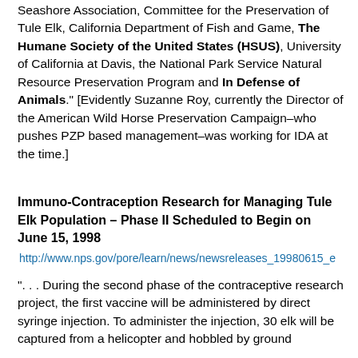Seashore Association, Committee for the Preservation of Tule Elk, California Department of Fish and Game, The Humane Society of the United States (HSUS), University of California at Davis, the National Park Service Natural Resource Preservation Program and In Defense of Animals." [Evidently Suzanne Roy, currently the Director of the American Wild Horse Preservation Campaign–who pushes PZP based management–was working for IDA at the time.]
Immuno-Contraception Research for Managing Tule Elk Population – Phase II Scheduled to Begin on June 15, 1998
http://www.nps.gov/pore/learn/news/newsreleases_19980615_e
". . . During the second phase of the contraceptive research project, the first vaccine will be administered by direct syringe injection. To administer the injection, 30 elk will be captured from a helicopter and hobbled by ground